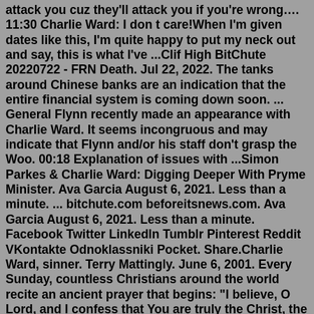attack you cuz they'll attack you if you're wrong.... 11:30 Charlie Ward: I don t care!When I'm given dates like this, I'm quite happy to put my neck out and say, this is what I've ...Clif High BitChute 20220722 - FRN Death. Jul 22, 2022. The tanks around Chinese banks are an indication that the entire financial system is coming down soon. ... General Flynn recently made an appearance with Charlie Ward. It seems incongruous and may indicate that Flynn and/or his staff don't grasp the Woo. 00:18 Explanation of issues with ...Simon Parkes & Charlie Ward: Digging Deeper With Pryme Minister. Ava Garcia August 6, 2021. Less than a minute. ... bitchute.com beforeitsnews.com. Ava Garcia August 6, 2021. Less than a minute. Facebook Twitter LinkedIn Tumblr Pinterest Reddit VKontakte Odnoklassniki Pocket. Share.Charlie Ward, sinner. Terry Mattingly. June 6, 2001. Every Sunday, countless Christians around the world recite an ancient prayer that begins: "I believe, O Lord, and I confess that You are truly the Christ, the Son of the